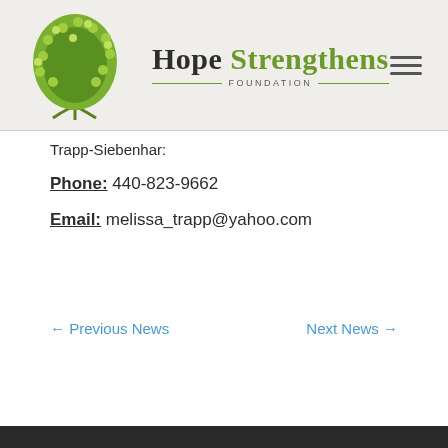[Figure (logo): Hope Strengthens Foundation logo with green tree illustration and organization name]
Trapp-Siebenhar:
Phone: 440-823-9662
Email: melissa_trapp@yahoo.com
← Previous News
Next News →